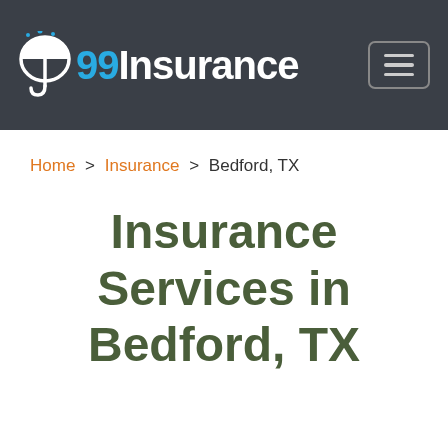99Insurance — navigation header with logo and hamburger menu
Home > Insurance > Bedford, TX
Insurance Services in Bedford, TX